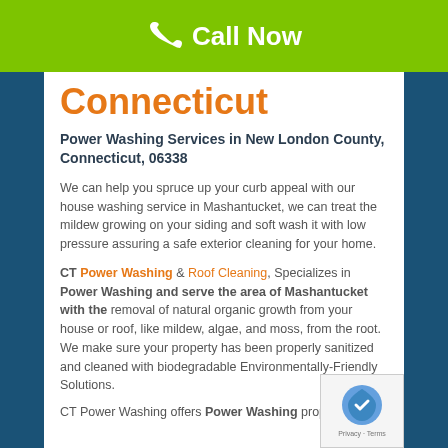Call Now
Connecticut
Power Washing Services in New London County, Connecticut, 06338
We can help you spruce up your curb appeal with our house washing service in Mashantucket, we can treat the mildew growing on your siding and soft wash it with low pressure assuring a safe exterior cleaning for your home.
CT Power Washing & Roof Cleaning, Specializes in Power Washing and serve the area of Mashantucket with the removal of natural organic growth from your house or roof, like mildew, algae, and moss, from the root. We make sure your property has been properly sanitized and cleaned with biodegradable Environmentally-Friendly Solutions.
CT Power Washing offers Power Washing property